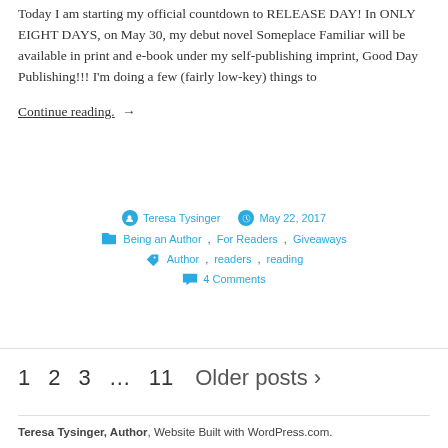Today I am starting my official countdown to RELEASE DAY! In ONLY EIGHT DAYS, on May 30, my debut novel Someplace Familiar will be available in print and e-book under my self-publishing imprint, Good Day Publishing!!! I'm doing a few (fairly low-key) things to
Continue reading. →
Teresa Tysinger   May 22, 2017   Being an Author, For Readers, Giveaways   Author, readers, reading   4 Comments
1  2  3  ...  11  Older posts >
Teresa Tysinger, Author, Website Built with WordPress.com.